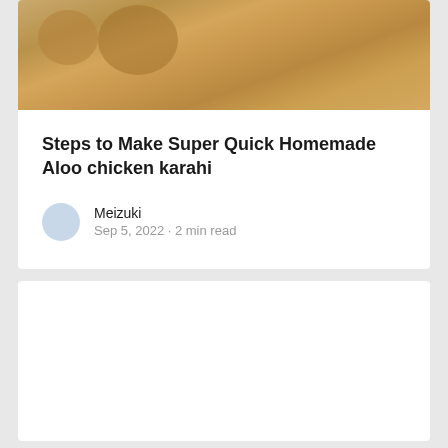[Figure (photo): Food photo showing cooked chicken karahi dish from above, golden brown pieces in sauce]
Steps to Make Super Quick Homemade Aloo chicken karahi
Meizuki
Sep 5, 2022 · 2 min read
[Figure (photo): Second article card with image placeholder, content not visible]